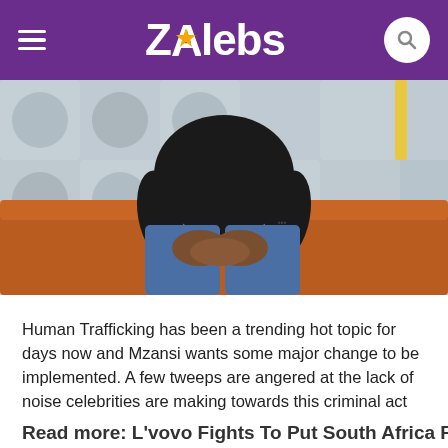ZAlebs
[Figure (photo): A man in a black t-shirt and blue jeans sitting on an orange/rust colored sofa with his hands clasped, viewed from the torso down.]
Human Trafficking has been a trending hot topic for days now and Mzansi wants some major change to be implemented. A few tweeps are angered at the lack of noise celebrities are making towards this criminal act that puts women and children's livelihoods in danger. L'vovo Derrango, who has started his fight to put South Africa first, is very much involved in this topic and advises SA to stop Tweeting and start acting.
Read more: L'vovo Fights To Put South Africa First